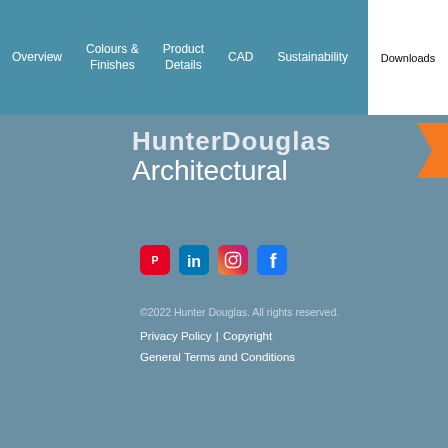Overview | Colours & Finishes | Product Details | CAD | Sustainability | Downloads
[Figure (logo): Hunter Douglas Architectural logo with orange chevron on teal background]
[Figure (infographic): Social media icons: Pinterest, LinkedIn, Instagram, Facebook]
©2022 Hunter Douglas. All rights reserved.
Privacy Policy | Copyright
General Terms and Conditions